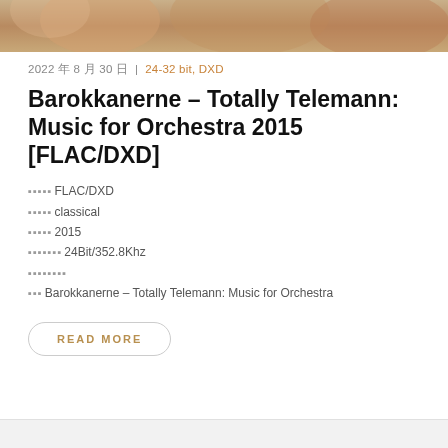[Figure (photo): Partial image of an artistic/classical painting showing figures, cropped at top of page]
2022 年 8 月 30 日 | 24-32 bit, DXD
Barokkanerne – Totally Telemann: Music for Orchestra 2015 [FLAC/DXD]
音频格式：FLAC/DXD
音乐流派：classical
发行时间：2015
音频规格：24Bit/352.8Khz
专辑数量：
专辑名称：Barokkanerne – Totally Telemann: Music for Orchestra
READ MORE